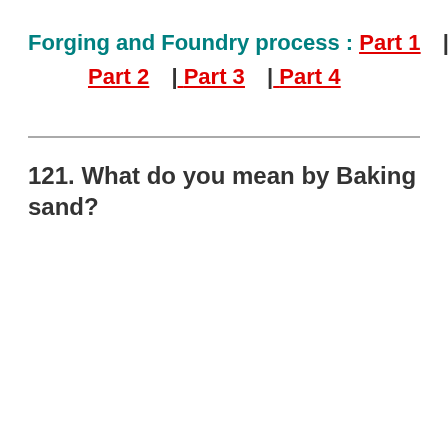Forging and Foundry process : Part 1 | Part 2 | Part 3 | Part 4
121. What do you mean by Baking sand?